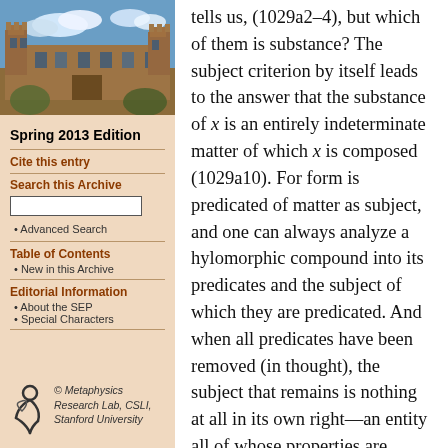[Figure (photo): Photograph of a historic stone university building with blue sky and clouds, likely Stanford or Oxford-style architecture]
Spring 2013 Edition
Cite this entry
Search this Archive
Advanced Search
Table of Contents
New in this Archive
Editorial Information
About the SEP
Special Characters
[Figure (logo): Metaphysics Research Lab logo — stylized figure/symbol]
© Metaphysics Research Lab, CSLI, Stanford University
tells us, (1029a2–4), but which of them is substance? The subject criterion by itself leads to the answer that the substance of x is an entirely indeterminate matter of which x is composed (1029a10). For form is predicated of matter as subject, and one can always analyze a hylomorphic compound into its predicates and the subject of which they are predicated. And when all predicates have been removed (in thought), the subject that remains is nothing at all in its own right—an entity all of whose properties are accidental to it (1029a12–27). The resulting subject is matter from which all form has been